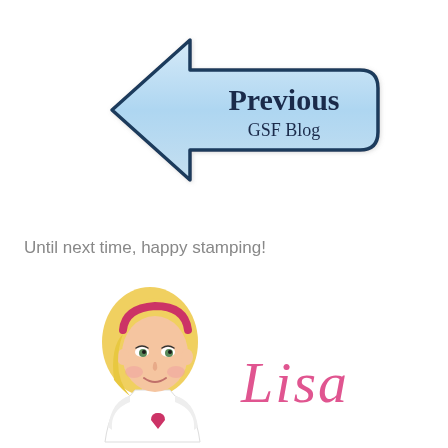[Figure (illustration): Blue left-pointing arrow graphic with 'Previous GSF Blog' text inside]
Until next time, happy stamping!
[Figure (illustration): Cartoon illustration of a blonde woman wearing white top with pink heart, next to a pink cursive 'Lisa' signature]